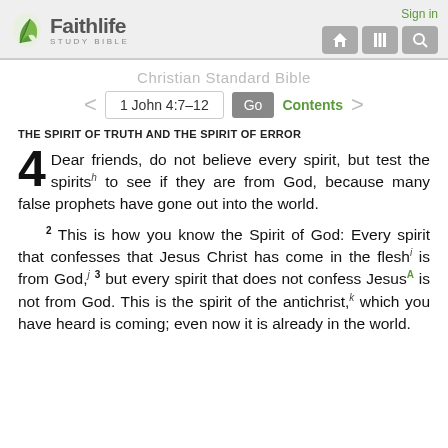[Figure (logo): Faithlife Study Bible logo with green leaf icon]
Sign in
Christian Standard Bible
1 John 4:7–12 Go Contents
THE SPIRIT OF TRUTH AND THE SPIRIT OF ERROR
4  Dear friends, do not believe every spirit, but test the spirits to see if they are from God, because many false prophets have gone out into the world.
2 This is how you know the Spirit of God: Every spirit that confesses that Jesus Christ has come in the flesh is from God, 3 but every spirit that does not confess Jesus is not from God. This is the spirit of the antichrist, which you have heard is coming; even now it is already in the world.